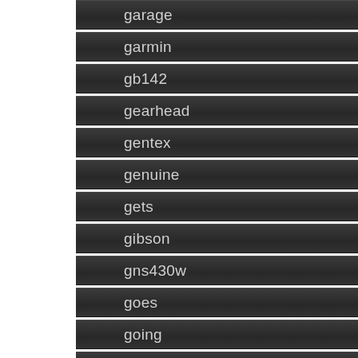garage
garmin
gb142
gearhead
gentex
genuine
gets
gibson
gns430w
goes
going
golf